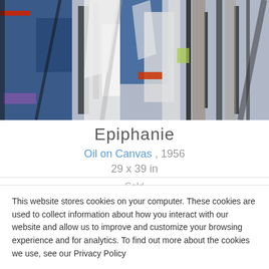[Figure (illustration): Abstract expressionist painting 'Epiphanie' (1956) showing dynamic figures and shapes in blue, white, black, red, and purple tones, oil on canvas.]
Epiphanie
Oil on Canvas , 1956
29 x 39 in
Sold
This website stores cookies on your computer. These cookies are used to collect information about how you interact with our website and allow us to improve and customize your browsing experience and for analytics. To find out more about the cookies we use, see our Privacy Policy